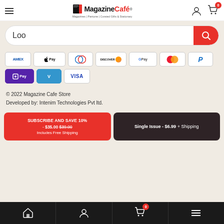Magazine Café — Magazines | Pantone | Curated Gifts & Stationary
Loo
[Figure (other): Payment method icons: AMEX, Apple Pay, Diners Club, Discover, Google Pay, Mastercard, PayPal, OPay, Venmo, VISA]
© 2022 Magazine Cafe Store
Developed by: Intenim Technologies Pvt ltd.
SUBSCRIBE AND SAVE 10% - $35.00 $39.00 Includes Free Shipping
Single Issue - $6.99 + Shipping